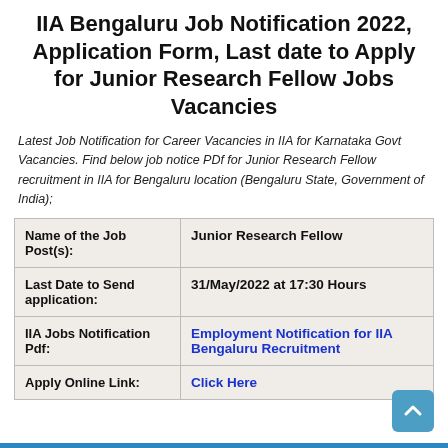IIA Bengaluru Job Notification 2022, Application Form, Last date to Apply for Junior Research Fellow Jobs Vacancies
Latest Job Notification for Career Vacancies in IIA for Karnataka Govt Vacancies. Find below job notice PDf for Junior Research Fellow recruitment in IIA for Bengaluru location (Bengaluru State, Government of India);
|  |  |
| --- | --- |
| Name of the Job Post(s): | Junior Research Fellow |
| Last Date to Send application: | 31/May/2022 at 17:30 Hours |
| IIA Jobs Notification Pdf: | Employment Notification for IIA Bengaluru Recruitment |
| Apply Online Link: | Click Here |